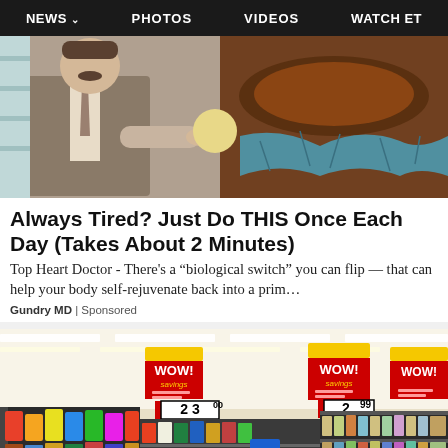NEWS  PHOTOS  VIDEOS  WATCH ET
[Figure (photo): A man in a suit pointing at a large chocolate container with a brown/earthy substance and blue cracked rim]
Always Tired? Just Do THIS Once Each Day (Takes About 2 Minutes)
Top Heart Doctor - There's a "biological switch" you can flip — that can help your body self-rejuvenate back into a prim…
Gundry MD | Sponsored
[Figure (photo): Inside a grocery store with yellow WOW savings signs showing prices $2.300 and $2.99 on store shelves]